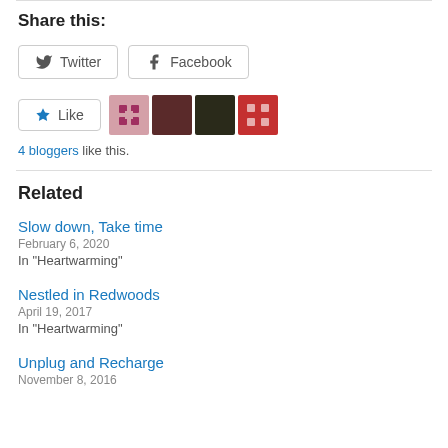Share this:
Twitter  Facebook
Like  4 bloggers like this.
Related
Slow down, Take time
February 6, 2020
In "Heartwarming"
Nestled in Redwoods
April 19, 2017
In "Heartwarming"
Unplug and Recharge
November 8, 2016